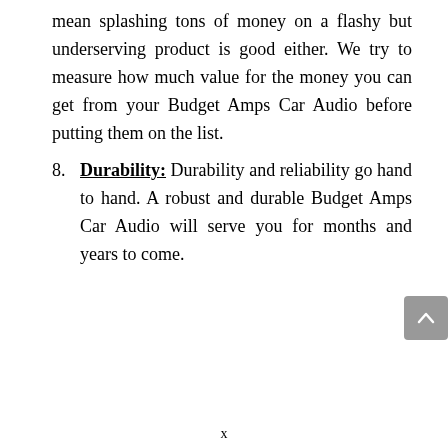mean splashing tons of money on a flashy but underserving product is good either. We try to measure how much value for the money you can get from your Budget Amps Car Audio before putting them on the list.
8. Durability: Durability and reliability go hand to hand. A robust and durable Budget Amps Car Audio will serve you for months and years to come.